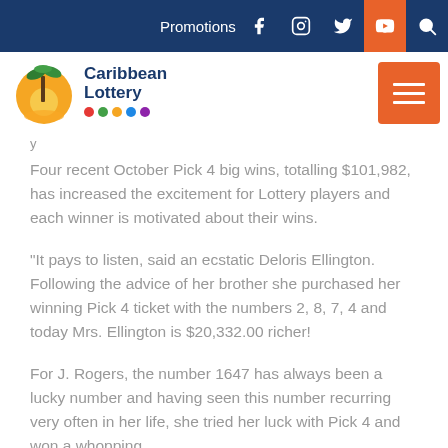Caribbean Lottery — Promotions
y
Four recent October Pick 4 big wins, totalling $101,982, has increased the excitement for Lottery players and each winner is motivated about their wins.
"It pays to listen, said an ecstatic Deloris Ellington. Following the advice of her brother she purchased her winning Pick 4 ticket with the numbers 2, 8, 7, 4 and today Mrs. Ellington is $20,332.00 richer!
For J. Rogers, the number 1647 has always been a lucky number and having seen this number recurring very often in her life, she tried her luck with Pick 4 and won a whopping